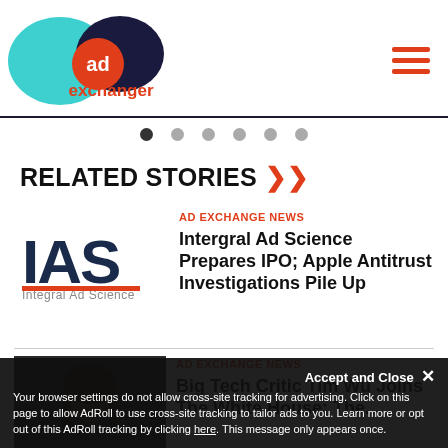[Figure (logo): AdExchanger logo with teal and dark blue overlapping circles and orange 'ad' text, with 'exchanger' in orange text below]
[Figure (other): Hamburger menu icon with three orange horizontal lines]
[Figure (other): Carousel pagination dots, 6 dots, first one active/dark]
RELATED STORIES
AD EXCHANGE NEWS
[Figure (logo): IAS - Integral Ad Science logo in dark blue and red text]
Intergral Ad Science Prepares IPO; Apple Antitrust Investigations Pile Up
AD EXCHANGE NEWS
[Figure (photo): Photo of Tim Wu, a man with long dark hair]
Big Tech Critic Tim Wu Joins The White House: The...
Accept and Close ✕
Your browser settings do not allow cross-site tracking for advertising. Click on this page to allow AdRoll to use cross-site tracking to tailor ads to you. Learn more or opt out of this AdRoll tracking by clicking here. This message only appears once.